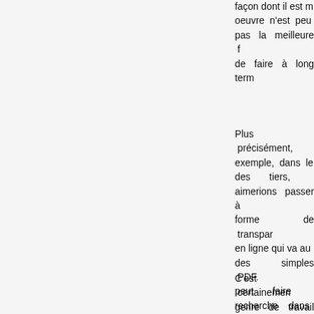façon dont il est m oeuvre n'est peu pas la meilleure f de faire à long term
Plus précisément, exemple, dans le des tiers, aimerions passer à forme de transpar en ligne qui va au des simples PDF. peut faire recherche dans rapport, mais on peut pas examine contributions, facilement, entre rapports de tiers gardant les fichiers affichés en ligne. exige énormémen travail.
C'est certainemen genre de travail qu sera pas fait pour élection. Cela ne pas dire que les re ne seront pas mise